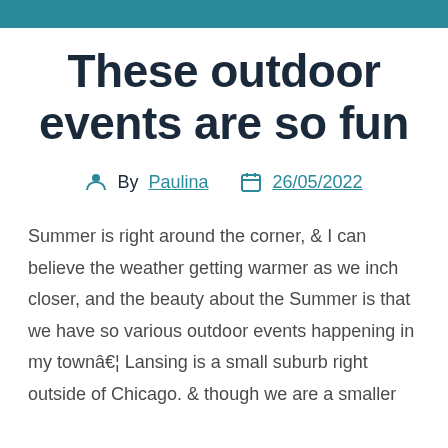These outdoor events are so fun
By Paulina   26/05/2022
Summer is right around the corner, & I can believe the weather getting warmer as we inch closer, and the beauty about the Summer is that we have so various outdoor events happening in my townâ€¦ Lansing is a small suburb right outside of Chicago. & though we are a smaller